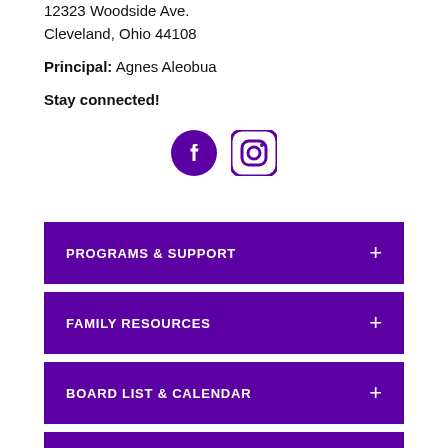12323 Woodside Ave.
Cleveland, Ohio 44108
Principal: Agnes Aleobua
Stay connected!
[Figure (illustration): Facebook and Instagram social media icons in purple]
PROGRAMS & SUPPORT +
FAMILY RESOURCES +
BOARD LIST & CALENDAR +
ANNUAL REPORTS +